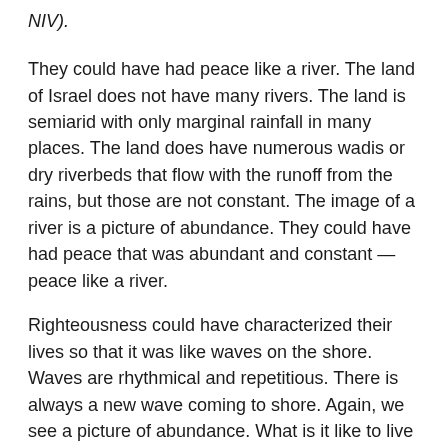NIV).
They could have had peace like a river. The land of Israel does not have many rivers. The land is semiarid with only marginal rainfall in many places. The land does have numerous wadis or dry riverbeds that flow with the runoff from the rains, but those are not constant. The image of a river is a picture of abundance. They could have had peace that was abundant and constant — peace like a river.
Righteousness could have characterized their lives so that it was like waves on the shore. Waves are rhythmical and repetitious. There is always a new wave coming to shore. Again, we see a picture of abundance. What is it like to live in a community where righteousness is the norm — a place where you expect it just like you do the next wave?